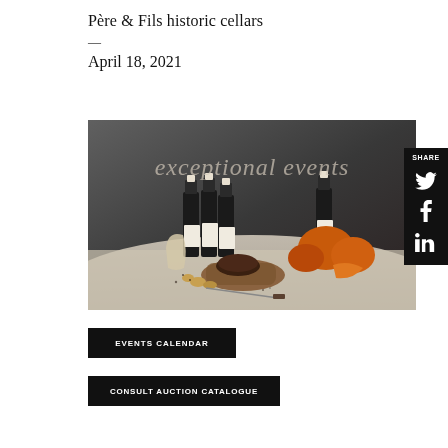Père & Fils historic cellars
April 18, 2021
[Figure (photo): Atmospheric still-life photograph of wine bottles (La Tâche style) arranged with pumpkins, bread, nuts, and autumn produce on a draped table against a dark grey background. Italic text overlay reads 'exceptional events'.]
SHARE
EVENTS CALENDAR
CONSULT AUCTION CATALOGUE